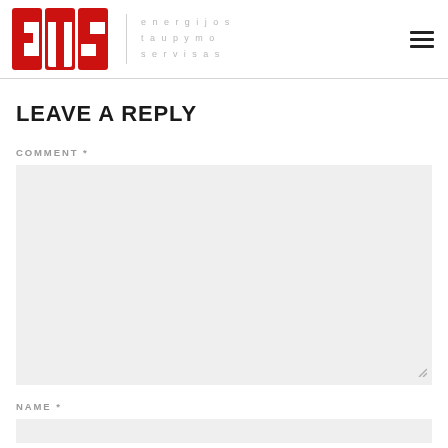ETS energijos taupymo servisas
LEAVE A REPLY
COMMENT *
NAME *